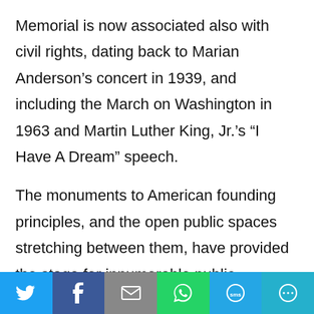Memorial is now associated also with civil rights, dating back to Marian Anderson's concert in 1939, and including the March on Washington in 1963 and Martin Luther King, Jr.'s “I Have A Dream” speech.
The monuments to American founding principles, and the open public spaces stretching between them, have provided the stage for innumerable public celebrations, civic gatherings, and demonstrations.
[Figure (screenshot): Partial social share bar with blue background strip and 'Today' text partially visible at bottom of content area]
Social share bar: Twitter, Facebook, Email, WhatsApp, SMS, More